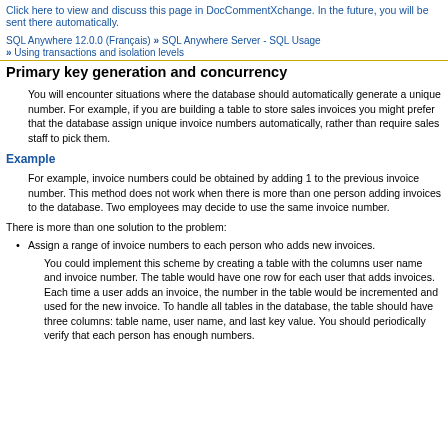Click here to view and discuss this page in DocCommentXchange. In the future, you will be sent there automatically.
SQL Anywhere 12.0.0 (Français) » SQL Anywhere Server - SQL Usage » Using transactions and isolation levels
Primary key generation and concurrency
You will encounter situations where the database should automatically generate a unique number. For example, if you are building a table to store sales invoices you might prefer that the database assign unique invoice numbers automatically, rather than require sales staff to pick them.
Example
For example, invoice numbers could be obtained by adding 1 to the previous invoice number. This method does not work when there is more than one person adding invoices to the database. Two employees may decide to use the same invoice number.
There is more than one solution to the problem:
Assign a range of invoice numbers to each person who adds new invoices.
You could implement this scheme by creating a table with the columns user name and invoice number. The table would have one row for each user that adds invoices. Each time a user adds an invoice, the number in the table would be incremented and used for the new invoice. To handle all tables in the database, the table should have three columns: table name, user name, and last key value. You should periodically verify that each person has enough numbers.